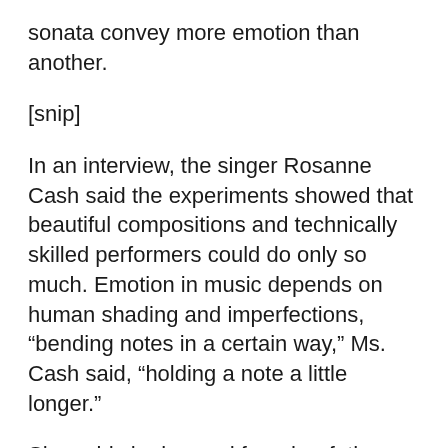sonata convey more emotion than another.
[snip]
In an interview, the singer Rosanne Cash said the experiments showed that beautiful compositions and technically skilled performers could do only so much. Emotion in music depends on human shading and imperfections, “bending notes in a certain way,” Ms. Cash said, “holding a note a little longer.”
She said she learned from her father, Johnny Cash, “that your style is a function of your limitations, more so than a function of your skills.”
“You’ve heard plenty of great, great singers that leave you cold,” she said. “They can do gymnastics, amazing things. If you have limitations as a singer, maybe you’re forced to find nuance in a way you don’t have to if you have a four-octave range.”